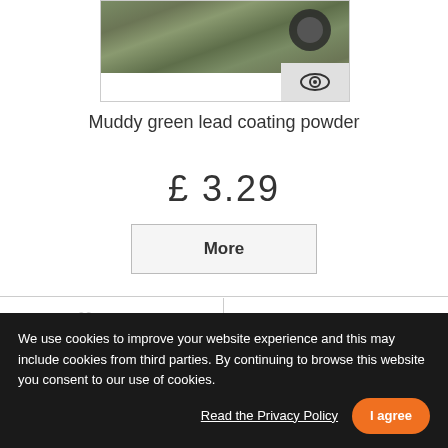[Figure (photo): Product photo of muddy green lead coating powder with a circular object visible, with an eye icon in the lower right corner]
Muddy green lead coating powder
£ 3.29
More
Add to Wishlist
+ Add to Compare
We use cookies to improve your website experience and this may include cookies from third parties. By continuing to browse this website you consent to our use of cookies.
Read the Privacy Policy
I agree